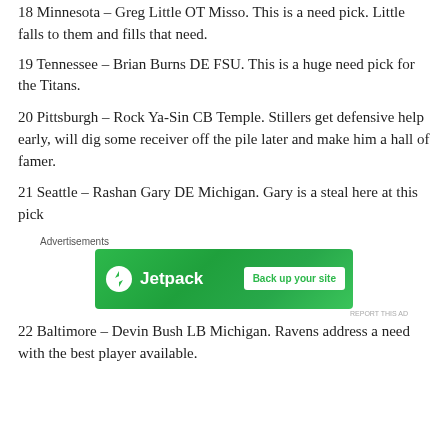18 Minnesota – Greg Little OT Misso. This is a need pick. Little falls to them and fills that need.
19 Tennessee – Brian Burns DE FSU. This is a huge need pick for the Titans.
20 Pittsburgh – Rock Ya-Sin CB Temple. Stillers get defensive help early, will dig some receiver off the pile later and make him a hall of famer.
21 Seattle – Rashan Gary DE Michigan. Gary is a steal here at this pick
[Figure (other): Jetpack advertisement banner with logo and 'Back up your site' button on green background. Label above reads 'Advertisements' and 'REPORT THIS AD' below.]
22 Baltimore – Devin Bush LB Michigan. Ravens address a need with the best player available.